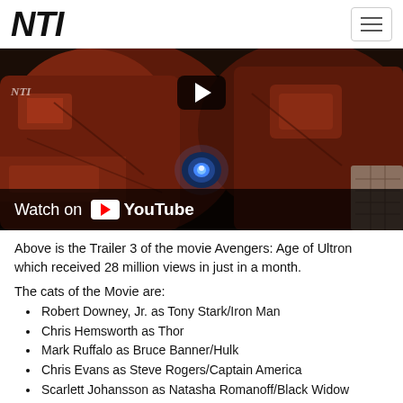NTI
[Figure (screenshot): YouTube video thumbnail showing Iron Man/Hulkbuster armor with a play button overlay and 'Watch on YouTube' bar at the bottom. Trailer 3 for Avengers: Age of Ultron.]
Above is the Trailer 3 of the movie Avengers: Age of Ultron which received 28 million views in just in a month.
The cats of the Movie are:
Robert Downey, Jr. as Tony Stark/Iron Man
Chris Hemsworth as Thor
Mark Ruffalo as Bruce Banner/Hulk
Chris Evans as Steve Rogers/Captain America
Scarlett Johansson as Natasha Romanoff/Black Widow
Jeremy Renner as Clint Barton/Hawkeye
Don Cheadle as James Rhodes/War Machine